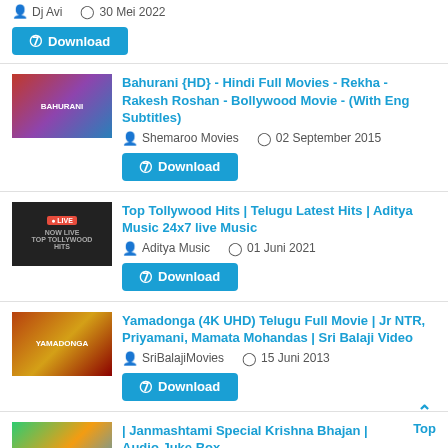Dj Avi | 30 Mei 2022 | Download
Bahurani {HD} - Hindi Full Movies - Rekha - Rakesh Roshan - Bollywood Movie - (With Eng Subtitles) | Shemaroo Movies | 02 September 2015 | Download
Top Tollywood Hits | Telugu Latest Hits | Aditya Music 24x7 live Music | Aditya Music | 01 Juni 2021 | Download
Yamadonga (4K UHD) Telugu Full Movie | Jr NTR, Priyamani, Mamata Mohandas | Sri Balaji Video | SriBalajiMovies | 15 Juni 2013 | Download
| Janmashtami Special Krishna Bhajan | Audio Juke Box | RDC Banglar Geeti | 18 Agustus 2022